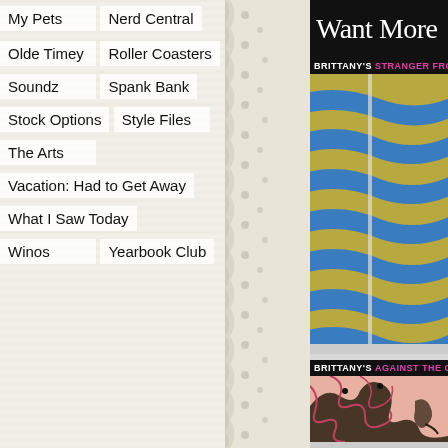My Pets
Nerd Central
Olde Timey
Roller Coasters
Soundz
Spank Bank
Stock Options
Style Files
The Arts
Vacation: Had to Get Away
What I Saw Today
Winos
Yearbook Club
Want More
BRITTANY'S STRANGER FROM TH...
[Figure (photo): Abstract image of blue and yellow-green diagonal stripes pattern]
BRITTANY'S AGAINST THE GRAIN
[Figure (photo): Abstract image of pink and black flowing organic shapes, medieval illustration style]